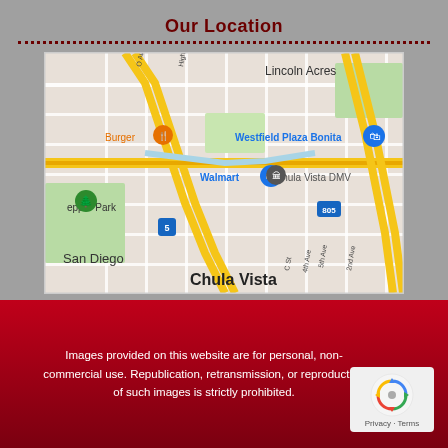Our Location
[Figure (map): Google Maps view showing Chula Vista area with landmarks including Westfield Plaza Bonita, Walmart, Chula Vista DMV, Burger restaurant, Pepper Park, Lincoln Acres, and San Diego. Major roads including I-5 and highway 805 visible.]
Images provided on this website are for personal, non-commercial use. Republication, retransmission, or reproduction of such images is strictly prohibited.
[Figure (logo): reCAPTCHA badge with Privacy and Terms links]